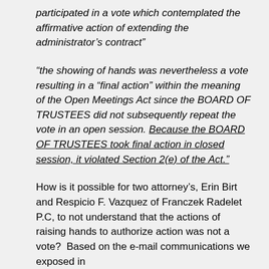participated in a vote which contemplated the affirmative action of extending the administrator's contract"
“the showing of hands was nevertheless a vote resulting in a “final action” within the meaning of the Open Meetings Act since the BOARD OF TRUSTEES did not subsequently repeat the vote in an open session. Because the BOARD OF TRUSTEES took final action in closed session, it violated Section 2(e) of the Act.”
How is it possible for two attorney’s, Erin Birt and Respicio F. Vazquez of Franczek Radelet P.C, to not understand that the actions of raising hands to authorize action was not a vote?  Based on the e-mail communications we exposed in